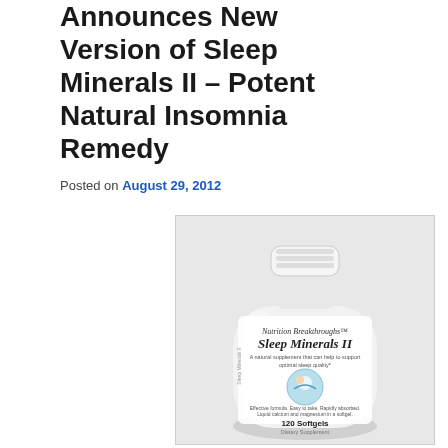Announces New Version of Sleep Minerals II – Potent Natural Insomnia Remedy
Posted on August 29, 2012
[Figure (photo): Photo of a white supplement bottle labeled 'Sleep Minerals II' by Nutrition Breakthroughs, showing 120 Softgels, with an illustration of a sleeping figure on the label.]